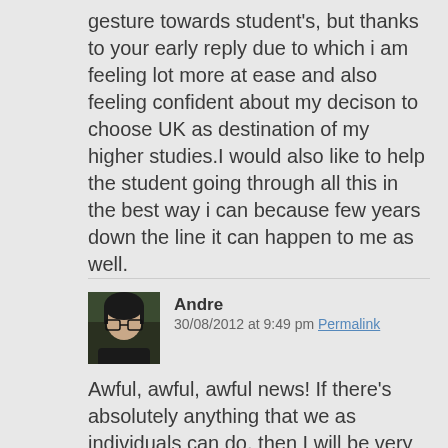gesture towards student's, but thanks to your early reply due to which i am feeling lot more at ease and also feeling confident about my decison to choose UK as destination of my higher studies.I would also like to help the student going through all this in the best way i can because few years down the line it can happen to me as well.
Andre
30/08/2012 at 9:49 pm Permalink
Awful, awful, awful news! If there's absolutely anything that we as individuals can do, then I will be very keen to help. This is horrible and shocking.